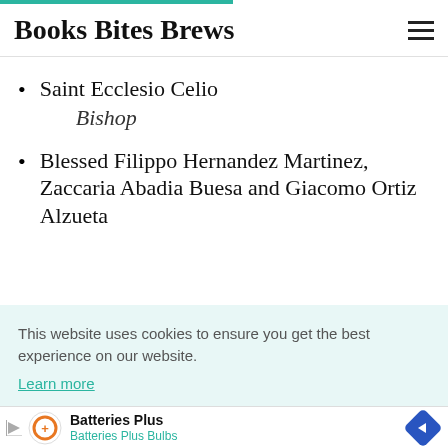Books Bites Brews
Saint Ecclesio Celio
Bishop
Blessed Filippo Hernandez Martinez, Zaccaria Abadia Buesa and Giacomo Ortiz Alzueta
This website uses cookies to ensure you get the best experience on our website.
Learn more
Got it!
[Figure (infographic): Batteries Plus advertisement banner with logo, play icon, company name and navigation arrow diamond icon]